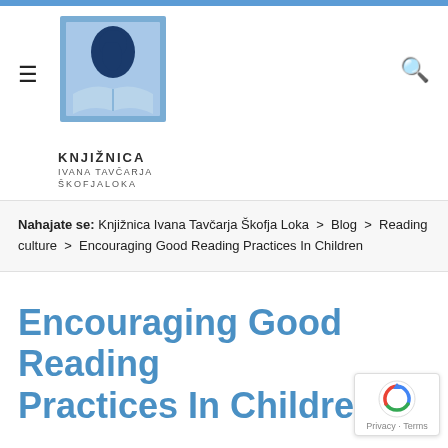[Figure (logo): Knjižnica Ivana Tavčarja Škofja Loka library logo — blue square with a silhouette of a face and open book, with library name text below]
Nahajate se:  Knjižnica Ivana Tavčarja Škofja Loka  >  Blog  >  Reading culture  >  Encouraging Good Reading Practices In Children
Encouraging Good Reading Practices In Children